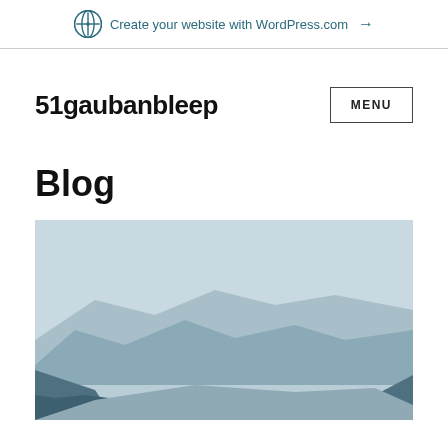Create your website with WordPress.com →
51gaubanbleep
Blog
[Figure (photo): Landscape photo showing layered mountain silhouettes in muted blue-grey tones with a light sky background]